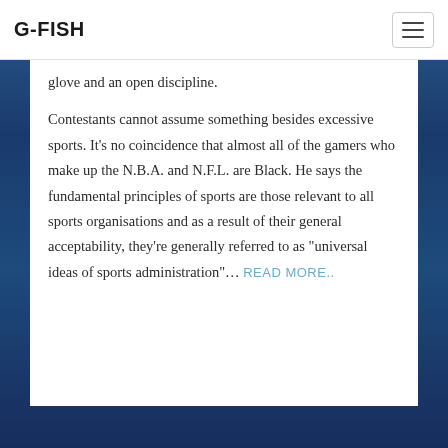G-FISH
glove and an open discipline.
Contestants cannot assume something besides excessive sports. It’s no coincidence that almost all of the gamers who make up the N.B.A. and N.F.L. are Black. He says the fundamental principles of sports are those relevant to all sports organisations and as a result of their general acceptability, they’re generally referred to as “universal ideas of sports administration”…. READ MORE..